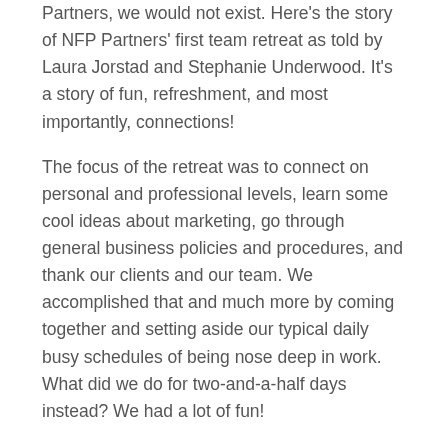Partners, we would not exist. Here's the story of NFP Partners' first team retreat as told by Laura Jorstad and Stephanie Underwood. It's a story of fun, refreshment, and most importantly, connections!
The focus of the retreat was to connect on personal and professional levels, learn some cool ideas about marketing, go through general business policies and procedures, and thank our clients and our team. We accomplished that and much more by coming together and setting aside our typical daily busy schedules of being nose deep in work. What did we do for two-and-a-half days instead? We had a lot of fun!
Three of us managed to miss the street